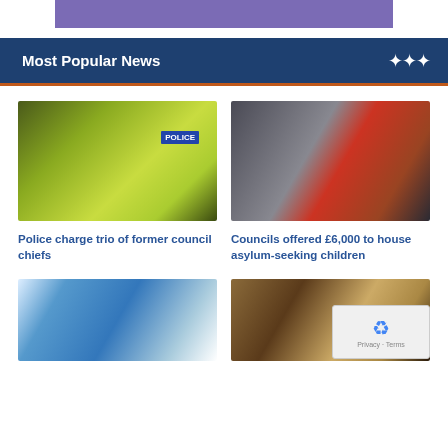[Figure (other): Purple advertisement banner at top]
Most Popular News
[Figure (photo): Police officers in high-visibility yellow jackets with POLICE text, seen from behind in a crowd]
Police charge trio of former council chiefs
[Figure (photo): Child in red coat sitting on floor with bags, appearing to be a refugee in a transit area]
Councils offered £6,000 to house asylum-seeking children
[Figure (photo): Nurse or healthcare worker speaking with elderly woman patient]
[Figure (photo): Person holding open empty wallet, financial hardship image]